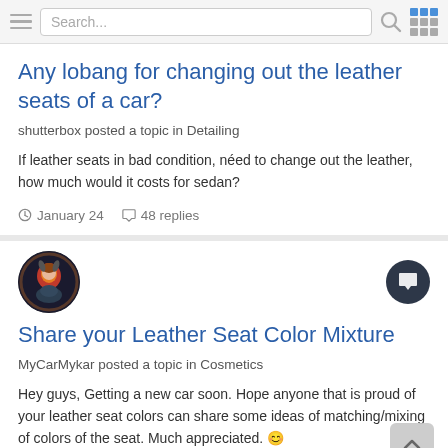Search...
Any lobang for changing out the leather seats of a car?
shutterbox posted a topic in Detailing
If leather seats in bad condition, néed to change out the leather, how much would it costs for sedan?
January 24   48 replies
[Figure (photo): User avatar showing a warrior/fire character icon in a circular crop]
Share your Leather Seat Color Mixture
MyCarMykar posted a topic in Cosmetics
Hey guys, Getting a new car soon. Hope anyone that is proud of your leather seat colors can share some ideas of matching/mixing of colors of the seat. Much appreciated. 😊